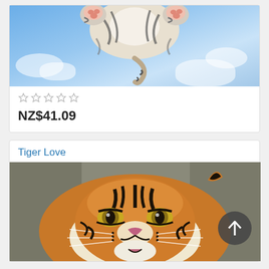[Figure (illustration): Illustrated tiger cub shown upside down against a blue sky background with clouds, showing striped fur and pink paw pads]
★★★★★ (empty stars rating)
NZ$41.09
Tiger Love
[Figure (photo): Close-up photograph of a tiger face looking directly at viewer, showing orange and black stripes, white facial markings, and open mouth]